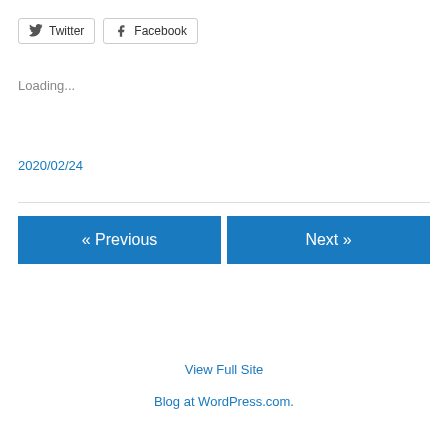[Figure (other): Social share buttons for Twitter and Facebook]
Loading...
2020/02/24
« Previous
Next »
View Full Site
Blog at WordPress.com.